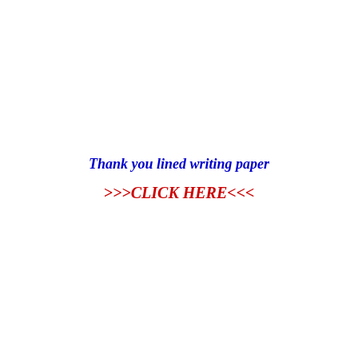Thank you lined writing paper
>>>CLICK HERE<<<